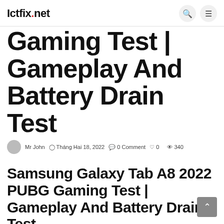Ictfix.net
Gaming Test | Gameplay And Battery Drain Test
Mr John  Tháng Hai 18, 2022  0 Comment  ♡ 0  👁 340
Samsung Galaxy Tab A8 2022 PUBG Gaming Test | Gameplay And Battery Drain Test.